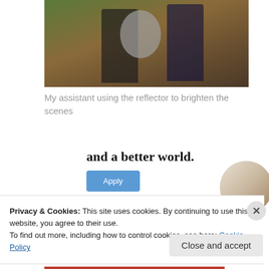[Figure (photo): Two people standing outdoors in a wooded area with autumn leaves on the ground. One person on the left holds a large circular reflector. A person on the right stands next to a pole or tripod.]
My assistant using the reflector to brighten the scenes
and a better world.
[Figure (photo): Apply button (blue) and a circular avatar portrait of a person thinking.]
Privacy & Cookies: This site uses cookies. By continuing to use this website, you agree to their use.
To find out more, including how to control cookies, see here: Cookie Policy
Close and accept